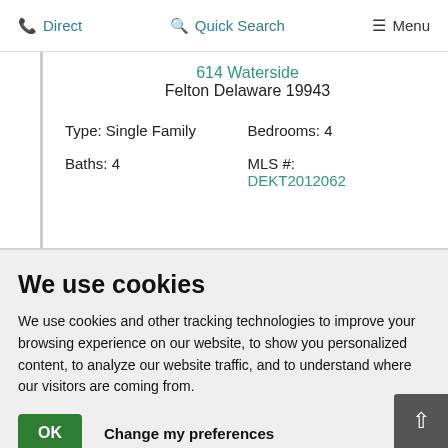Direct   Quick Search   Menu
614 Waterside
Felton Delaware 19943
Type: Single Family   Bedrooms: 4
Baths: 4   MLS #: DEKT2012062
We use cookies
We use cookies and other tracking technologies to improve your browsing experience on our website, to show you personalized content, to analyze our website traffic, and to understand where our visitors are coming from.
OK   Change my preferences